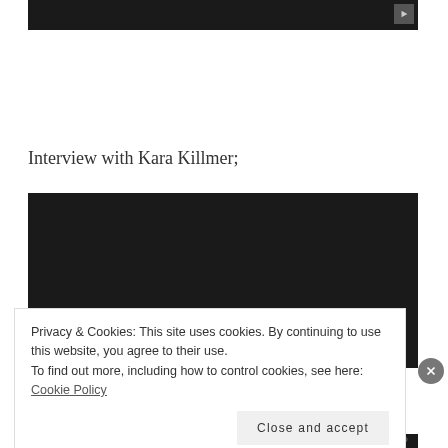[Figure (screenshot): Dark video player thumbnail at the top of the page with a play button icon in the top-right corner]
Interview with Kara Killmer;
[Figure (screenshot): Dark video embed showing 'This video is private' message with an alert icon]
Privacy & Cookies: This site uses cookies. By continuing to use this website, you agree to their use.
To find out more, including how to control cookies, see here: Cookie Policy
Close and accept